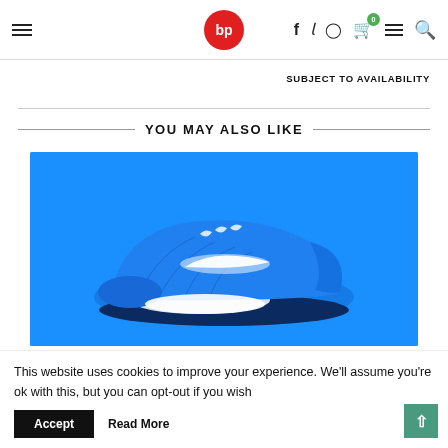≡  bp  f  twitter  instagram  cart(0)  ≡  search
SUBJECT TO AVAILABILITY
YOU MAY ALSO LIKE
[Figure (photo): Blue Nike Air Max sneaker on bright blue background]
This website uses cookies to improve your experience. We'll assume you're ok with this, but you can opt-out if you wish
Accept   Read More